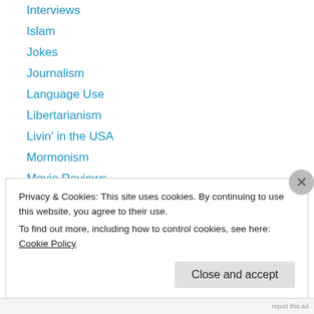Interviews
Islam
Jokes
Journalism
Language Use
Libertarianism
Livin' in the USA
Mormonism
Movie Reviews
Music
Parrots
Philosophy
Politics
Privacy & Cookies: This site uses cookies. By continuing to use this website, you agree to their use.
To find out more, including how to control cookies, see here: Cookie Policy
Close and accept